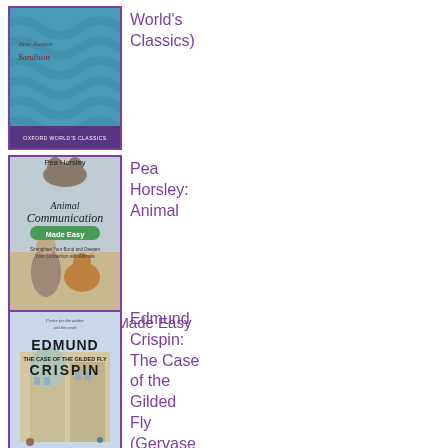World's Classics)
[Figure (illustration): Book cover for Sandition (Oxford World's Classics) by Jane Austen, with blue-green wave pattern]
[Figure (illustration): Book cover for Animal Communication Made Easy by Pea Horsley, showing a woman with a dog]
Pea Horsley: Animal Communication Made Easy
[Figure (illustration): Book cover for The Case of the Gilded Fly (Gervase Fen 1) by Edmund Crispin, showing Oxford buildings]
Edmund Crispin: The Case of the Gilded Fly (Gervase Fen 1)